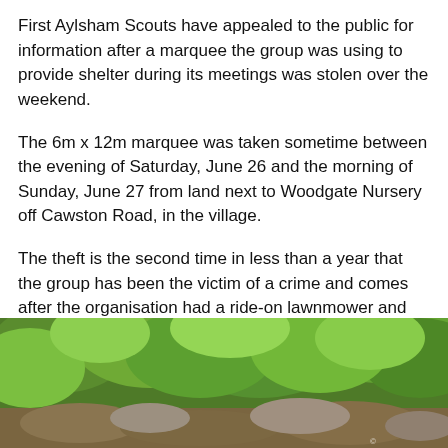First Aylsham Scouts have appealed to the public for information after a marquee the group was using to provide shelter during its meetings was stolen over the weekend.
The 6m x 12m marquee was taken sometime between the evening of Saturday, June 26 and the morning of Sunday, June 27 from land next to Woodgate Nursery off Cawston Road, in the village.
The theft is the second time in less than a year that the group has been the victim of a crime and comes after the organisation had a ride-on lawnmower and two trailers stolen in October.
[Figure (photo): Outdoor photo showing dense green vegetation, trees and shrubs with some rocky ground visible beneath.]